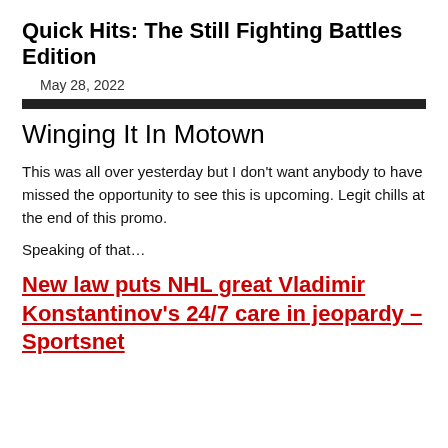Quick Hits: The Still Fighting Battles Edition
May 28, 2022
Winging It In Motown
This was all over yesterday but I don't want anybody to have missed the opportunity to see this is upcoming. Legit chills at the end of this promo.
Speaking of that…
New law puts NHL great Vladimir Konstantinov's 24/7 care in jeopardy – Sportsnet